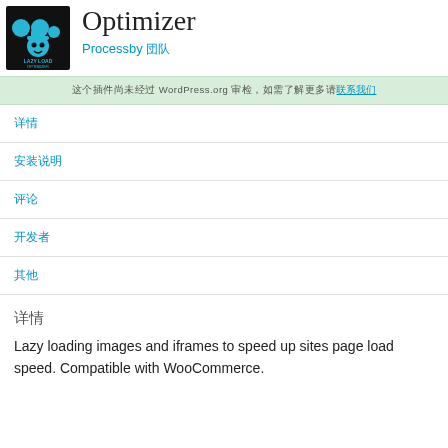[Figure (logo): Lazy Load Optimizer plugin logo — black background with blue circles and face icon, text LAZY LOAD OPTIMIZER]
Optimizer
Processby [CJK characters]
[CJK notice text with link]
[CJK menu item 1]
[CJK menu item 2]
[CJK menu item 3]
[CJK menu item 4]
[CJK menu item 5]
[CJK section heading]
Lazy loading images and iframes to speed up sites page load speed. Compatible with WooCommerce.